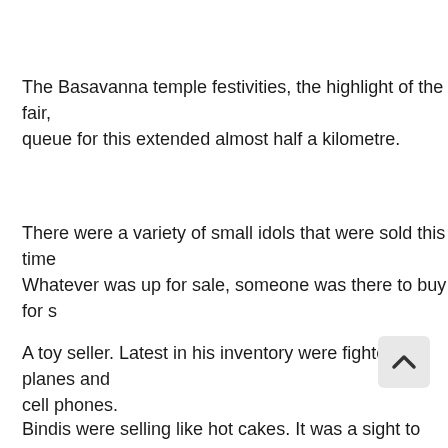The Basavanna temple festivities, the highlight of the fair, queue for this extended almost half a kilometre.
There were a variety of small idols that were sold this time Whatever was up for sale, someone was there to buy for s
A toy seller. Latest in his inventory were fighter planes and cell phones.
Bindis were selling like hot cakes. It was a sight to see wo